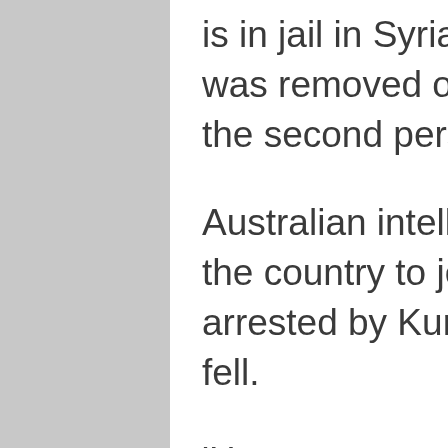is in jail in Syria after his Australian citizenship was removed on July 2 last year. The identity of the second person is unknown.
Australian intelligence say Alexander travelled to the country to join terror group ISIS, before being arrested by Kurdish forces after the organisation fell.
‘Have we gone mad? Anyone with links to this terrorist group has no place in our country,’ Fordham said on Thursday.
‘This lunatic, because he’s never faced trial in Australia, and only committed